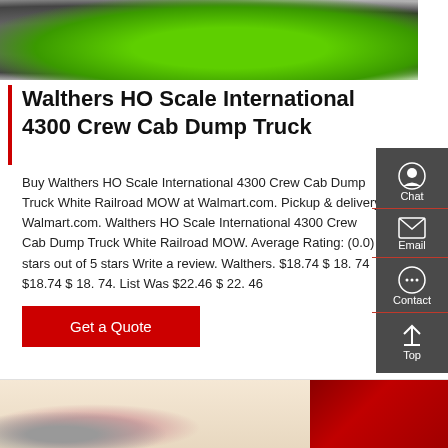[Figure (photo): Green truck (International 4300) displayed in a showroom or exhibition hall, photographed from the front.]
Walthers HO Scale International 4300 Crew Cab Dump Truck
Buy Walthers HO Scale International 4300 Crew Cab Dump Truck White Railroad MOW at Walmart.com. Pickup & delivery Walmart.com. Walthers HO Scale International 4300 Crew Cab Dump Truck White Railroad MOW. Average Rating: (0.0) stars out of 5 stars Write a review. Walthers. $18.74 $ 18. 74 $18.74 $ 18. 74. List Was $22.46 $ 22. 46
[Figure (other): Sidebar with Chat, Email, Contact, and Top navigation icons on dark gray background]
[Figure (photo): Bottom section showing partial photos: a building/structure on the left and a red vehicle on the right]